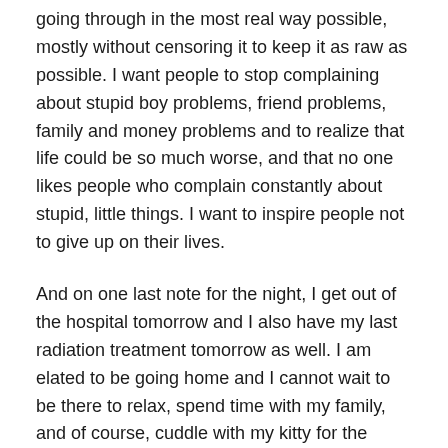going through in the most real way possible, mostly without censoring it to keep it as raw as possible. I want people to stop complaining about stupid boy problems, friend problems, family and money problems and to realize that life could be so much worse, and that no one likes people who complain constantly about stupid, little things. I want to inspire people not to give up on their lives.
And on one last note for the night, I get out of the hospital tomorrow and I also have my last radiation treatment tomorrow as well. I am elated to be going home and I cannot wait to be there to relax, spend time with my family, and of course, cuddle with my kitty for the longest time, as he is the only family member who I have not been able to see in the two weeks that I have been here. So yay to getting out of the hospital!!!